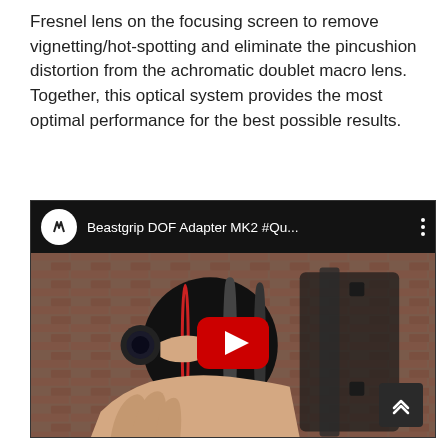Fresnel lens on the focusing screen to remove vignetting/hot-spotting and eliminate the pincushion distortion from the achromatic doublet macro lens. Together, this optical system provides the most optimal performance for the best possible results.
[Figure (screenshot): YouTube video thumbnail showing 'Beastgrip DOF Adapter MK2 #Qu...' with a person holding a large cinema lens attached to a camera rig, with YouTube play button overlay and top bar with channel logo.]